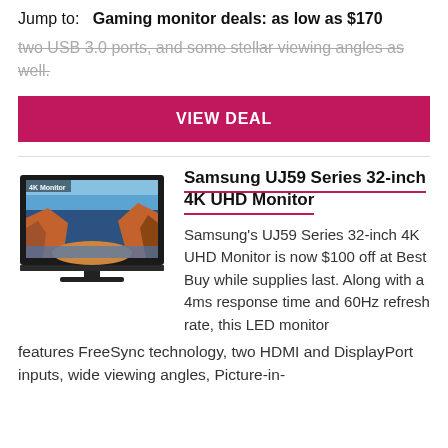Jump to:   Gaming monitor deals: as low as $170
two USB 3.0 ports, and some stellar viewing angles as well.
VIEW DEAL
Samsung UJ59 Series 32-inch 4K UHD Monitor
[Figure (photo): Samsung UJ59 Series 32-inch 4K UHD Monitor product image showing the monitor with a landscape screensaver displayed]
Samsung's UJ59 Series 32-inch 4K UHD Monitor is now $100 off at Best Buy while supplies last. Along with a 4ms response time and 60Hz refresh rate, this LED monitor features FreeSync technology, two HDMI and DisplayPort inputs, wide viewing angles, Picture-in-